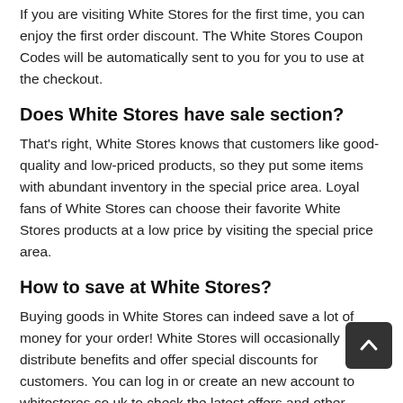If you are visiting White Stores for the first time, you can enjoy the first order discount. The White Stores Coupon Codes will be automatically sent to you for you to use at the checkout.
Does White Stores have sale section?
That's right, White Stores knows that customers like good-quality and low-priced products, so they put some items with abundant inventory in the special price area. Loyal fans of White Stores can choose their favorite White Stores products at a low price by visiting the special price area.
How to save at White Stores?
Buying goods in White Stores can indeed save a lot of money for your order! White Stores will occasionally distribute benefits and offer special discounts for customers. You can log in or create an new account to whitestores.co.uk to check the latest offers and other bargain information.